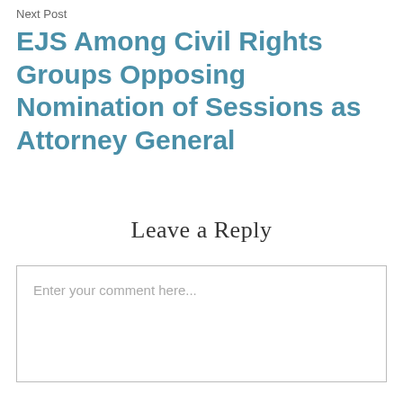Next Post
EJS Among Civil Rights Groups Opposing Nomination of Sessions as Attorney General
Leave a Reply
Enter your comment here...